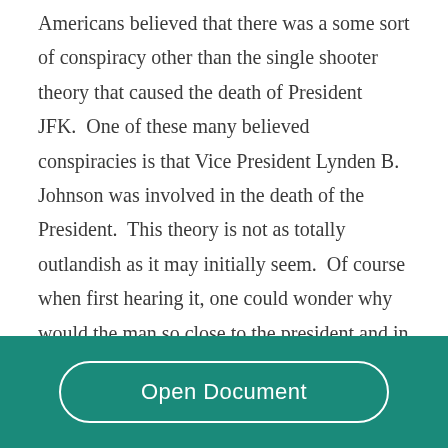Americans believed that there was a some sort of conspiracy other than the single shooter theory that caused the death of President JFK.  One of these many believed conspiracies is that Vice President Lynden B. Johnson was involved in the death of the President.  This theory is not as totally outlandish as it may initially seem.  Of course when first hearing it, one could wonder why would the man so close to the president and in a seat of
Open Document